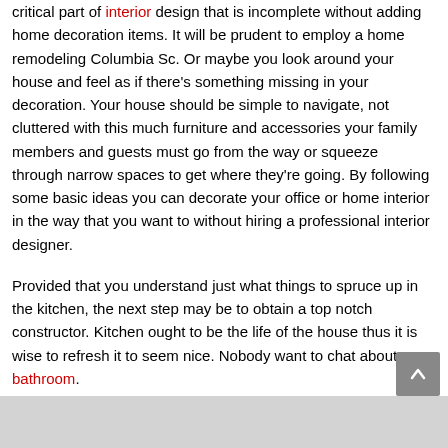critical part of interior design that is incomplete without adding home decoration items. It will be prudent to employ a home remodeling Columbia Sc. Or maybe you look around your house and feel as if there's something missing in your decoration. Your house should be simple to navigate, not cluttered with this much furniture and accessories your family members and guests must go from the way or squeeze through narrow spaces to get where they're going. By following some basic ideas you can decorate your office or home interior in the way that you want to without hiring a professional interior designer.
Provided that you understand just what things to spruce up in the kitchen, the next step may be to obtain a top notch constructor. Kitchen ought to be the life of the house thus it is wise to refresh it to seem nice. Nobody want to chat about a bathroom.